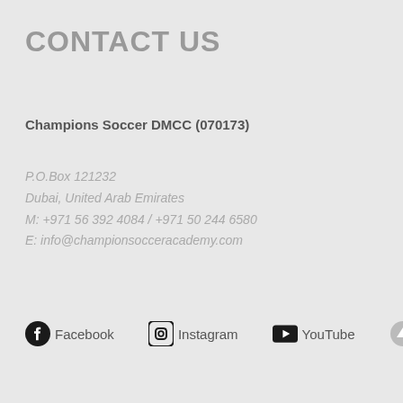CONTACT US
Champions Soccer DMCC (070173)
P.O.Box 121232
Dubai, United Arab Emirates
M: +971 56 392 4084 / +971 50 244 6580
E: info@championsocceracademy.com
Facebook  Instagram  YouTube